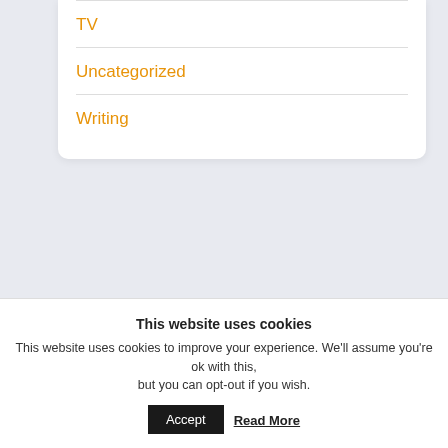TV
Uncategorized
Writing
ARCHIVES
Select Month
This website uses cookies
This website uses cookies to improve your experience. We'll assume you're ok with this, but you can opt-out if you wish.
Accept
Read More